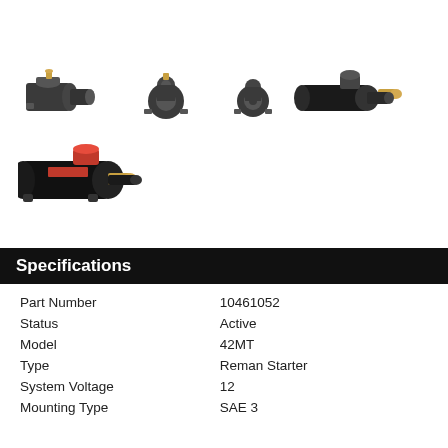[Figure (photo): Five views of a 42MT Reman Starter motor: side view, front view, rear view, right-side view, and a larger angled view. All images show the same black starter motor from different angles.]
Specifications
| Part Number | 10461052 |
| Status | Active |
| Model | 42MT |
| Type | Reman Starter |
| System Voltage | 12 |
| Mounting Type | SAE 3 |